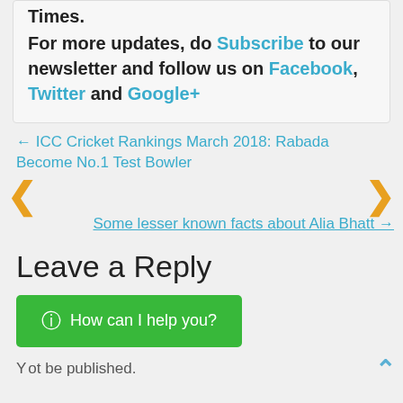Times.
For more updates, do Subscribe to our newsletter and follow us on Facebook, Twitter and Google+
← ICC Cricket Rankings March 2018: Rabada Become No.1 Test Bowler
Some lesser known facts about Alia Bhatt →
Leave a Reply
How can I help you?
ot be published.